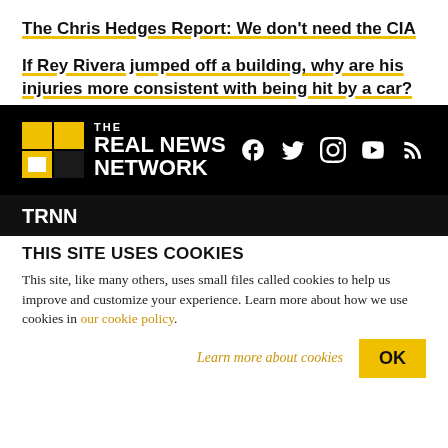The Chris Hedges Report: We don't need the CIA
If Rey Rivera jumped off a building, why are his injuries more consistent with being hit by a car?
[Figure (logo): The Real News Network logo with yellow grid icon and white text on black background, plus social media icons (Facebook, Twitter, Instagram, YouTube, RSS)]
TRNN
THIS SITE USES COOKIES
This site, like many others, uses small files called cookies to help us improve and customize your experience. Learn more about how we use cookies in our cookie policy.
Learn more about cookies    OK